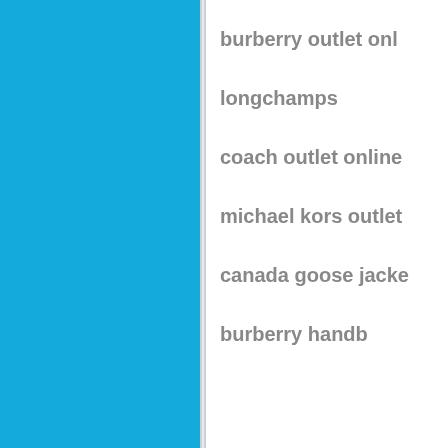burberry outlet onl
longchamps
coach outlet online
michael kors outlet
canada goose jacke
burberry handb